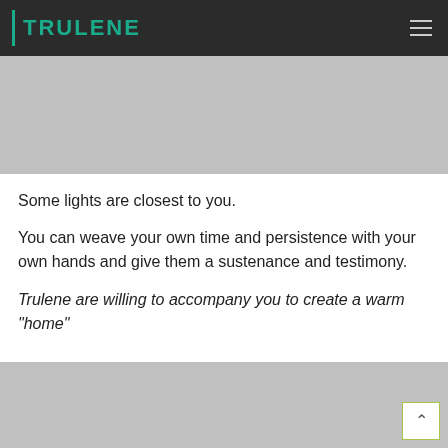TRULENE
[Figure (photo): Gray placeholder image at top of page below header]
Some lights are closest to you.
You can weave your own time and persistence with your own hands and give them a sustenance and testimony.
Trulene are willing to accompany you to create a warm "home"
[Figure (photo): Gray placeholder image at bottom of page]